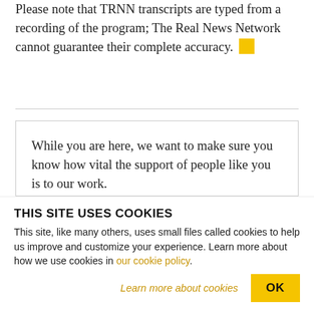Please note that TRNN transcripts are typed from a recording of the program; The Real News Network cannot guarantee their complete accuracy. [yellow square]
While you are here, we want to make sure you know how vital the support of people like you is to our work.
Uncompromising and relentlessly critical
THIS SITE USES COOKIES
This site, like many others, uses small files called cookies to help us improve and customize your experience. Learn more about how we use cookies in our cookie policy.
Learn more about cookies